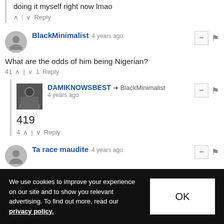doing it myself right now lmao
BlackMinimalist · 4 years ago
What are the odds of him being Nigerian?
41 ^ | v 1 Reply
DAMIKNOWSBEST → BlackMinimalist · 4 years ago
419
4 ^ | v Reply
Ta race maudite · 4 years ago
MAN he be bootleggin a bootlegger!! S/o to that dude
We use cookies to improve your experience on our site and to show you relevant advertising. To find out more, read our privacy policy.